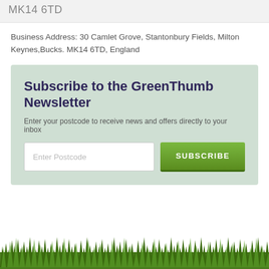MK14 6TD
Business Address: 30 Camlet Grove, Stantonbury Fields, Milton Keynes,Bucks. MK14 6TD, England
Subscribe to the GreenThumb Newsletter
Enter your postcode to receive news and offers directly to your inbox
[Figure (screenshot): Newsletter subscription form with postcode input field and green SUBSCRIBE button]
[Figure (illustration): Grass illustration across the bottom of the page]